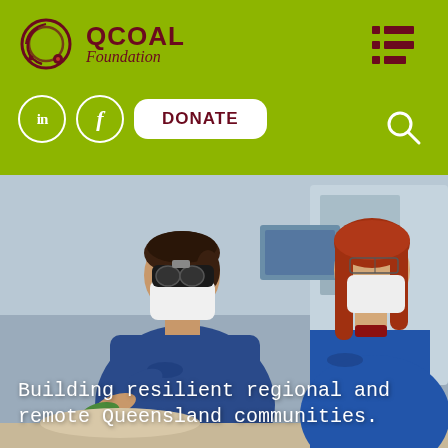[Figure (logo): QCOAL Foundation logo with circular emblem and text]
[Figure (illustration): Hamburger menu icon (three horizontal dark red bars with dots on left side)]
[Figure (illustration): LinkedIn circle icon, Facebook circle icon, DONATE button, Search icon]
[Figure (photo): Two healthcare workers in blue scrubs and face masks working in a dental or medical setting. Text overlay reads: Building resilient regional and remote Queensland communities.]
Building resilient regional and remote Queensland communities.